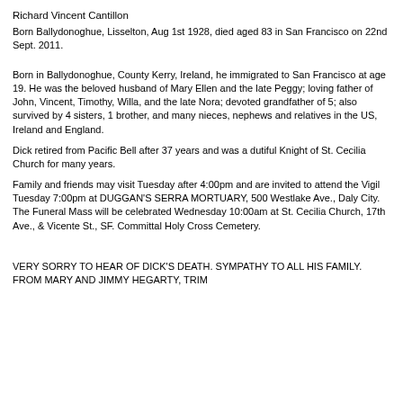Richard Vincent Cantillon
Born Ballydonoghue, Lisselton, Aug 1st 1928, died aged 83 in San Francisco on 22nd Sept. 2011.
Born in Ballydonoghue, County Kerry, Ireland, he immigrated to San Francisco at age 19. He was the beloved husband of Mary Ellen and the late Peggy; loving father of John, Vincent, Timothy, Willa, and the late Nora; devoted grandfather of 5; also survived by 4 sisters, 1 brother, and many nieces, nephews and relatives in the US, Ireland and England.
Dick retired from Pacific Bell after 37 years and was a dutiful Knight of St. Cecilia Church for many years.
Family and friends may visit Tuesday after 4:00pm and are invited to attend the Vigil Tuesday 7:00pm at DUGGAN'S SERRA MORTUARY, 500 Westlake Ave., Daly City. The Funeral Mass will be celebrated Wednesday 10:00am at St. Cecilia Church, 17th Ave., & Vicente St., SF. Committal Holy Cross Cemetery.
VERY SORRY TO HEAR OF DICK'S DEATH. SYMPATHY TO ALL HIS FAMILY. FROM MARY AND JIMMY HEGARTY, TRIM